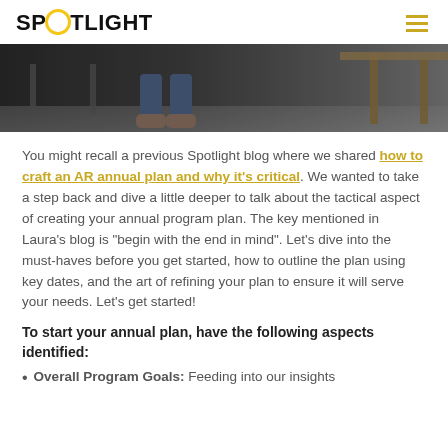SPOTLIGHT
[Figure (photo): A dark atmospheric photo showing the lower body of a person sitting, with legs and shoes visible, and furniture in the background on a hard floor.]
You might recall a previous Spotlight blog where we shared how to craft an AR annual plan and why it's critical. We wanted to take a step back and dive a little deeper to talk about the tactical aspect of creating your annual program plan. The key mentioned in Laura's blog is “begin with the end in mind”. Let’s dive into the must-haves before you get started, how to outline the plan using key dates, and the art of refining your plan to ensure it will serve your needs. Let’s get started!
To start your annual plan, have the following aspects identified:
Overall Program Goals: Feeding into our insights